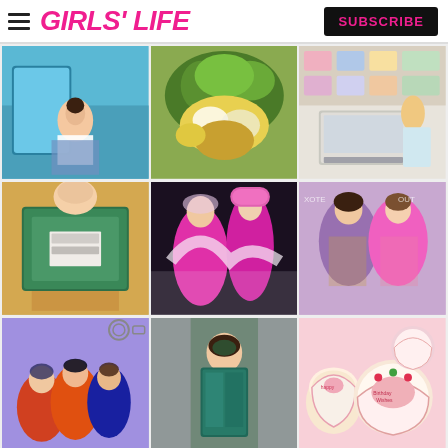GIRLS' LIFE | SUBSCRIBE
[Figure (photo): Girl sitting on blue chair outdoors, holding phone, wearing white top and denim]
[Figure (photo): Close-up of floral arrangement with greenery and white flowers on a pizza]
[Figure (photo): Desk setup with laptop, tulips in vase, notebook, and mood board on wall]
[Figure (photo): Blonde person holding green composition notebook up to face]
[Figure (photo): Two girls in pink cowgirl/party outfits with feather boa at dark event]
[Figure (photo): Two smiling women, one in purple jacket and one in pink tiger-stripe jacket]
[Figure (photo): Three young men posing together, Instagram reel icons visible]
[Figure (photo): Woman in teal/green trench coat dress posing against wooden wall]
[Figure (photo): Heart-shaped decorated cakes and pastries in pink and green]